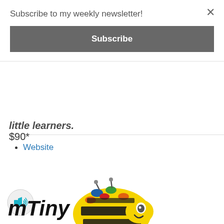Subscribe to my weekly newsletter!
Subscribe
little learners.
$90*
Website
[Figure (photo): Yellow bee-shaped educational robot (Bee-Bot) with colorful buttons on top and a smiling face]
[Figure (other): Speaker/audio icon in a light gray circle]
mTiny